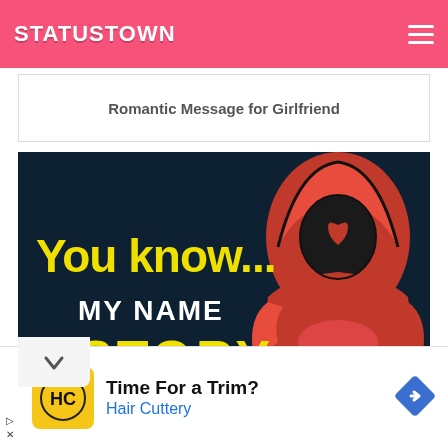STATUSTOWN
Romantic Message for Girlfriend
[Figure (illustration): Dark teal background graphic with a red hooded figure (face hidden, heart shape visible). Bold yellow text reads 'You know...' and white bold text reads 'MY NAME' and yellow bold text reads 'STORY' partially visible at bottom.]
Time For a Trim? Hair Cuttery